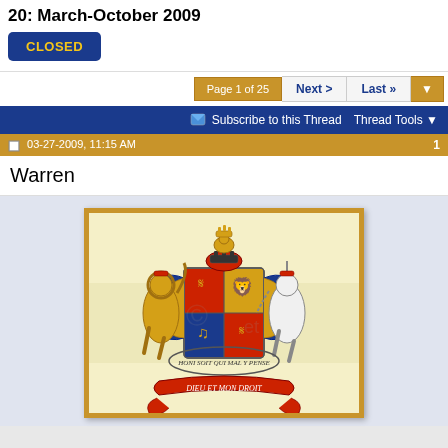20: March-October 2009
CLOSED
Page 1 of 25  Next >  Last »
Subscribe to this Thread  Thread Tools
03-27-2009, 11:15 AM  1
Warren
[Figure (illustration): Royal coat of arms with a crowned lion and unicorn as supporters, a quartered shield, ornate crest, and decorative banner, displayed in a gold frame on a pale yellow background.]